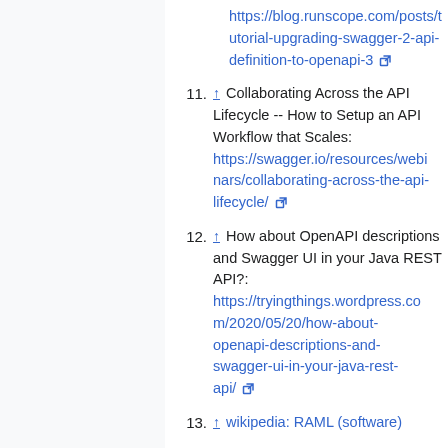https://blog.runscope.com/posts/tutorial-upgrading-swagger-2-api-definition-to-openapi-3
11. ↑ Collaborating Across the API Lifecycle -- How to Setup an API Workflow that Scales: https://swagger.io/resources/webinars/collaborating-across-the-api-lifecycle/
12. ↑ How about OpenAPI descriptions and Swagger UI in your Java REST API?: https://tryingthings.wordpress.com/2020/05/20/how-about-openapi-descriptions-and-swagger-ui-in-your-java-rest-api/
13. ↑ wikipedia: RAML (software)
14. ↑ API Discovery Is for Internal or External Services: